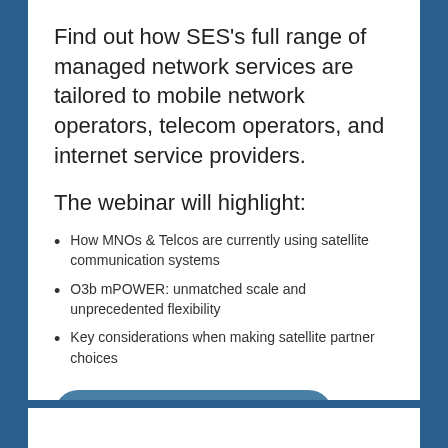Find out how SES's full range of managed network services are tailored to mobile network operators, telecom operators, and internet service providers.
The webinar will highlight:
How MNOs & Telcos are currently using satellite communication systems
O3b mPOWER: unmatched scale and unprecedented flexibility
Key considerations when making satellite partner choices
REGISTER HERE